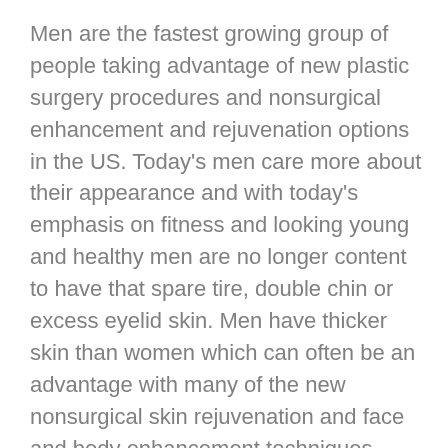Men are the fastest growing group of people taking advantage of new plastic surgery procedures and nonsurgical enhancement and rejuvenation options in the US. Today's men care more about their appearance and with today's emphasis on fitness and looking young and healthy men are no longer content to have that spare tire, double chin or excess eyelid skin. Men have thicker skin than women which can often be an advantage with many of the new nonsurgical skin rejuvenation and face and body enhancement techniques available. We have many years of experience providing plastic surgery and nonsurgical face and body rejuvenation for men. At Boston Plastic Surgery Specialists we have many men patients in our practice and are used to the specialized techniques that are necessary to